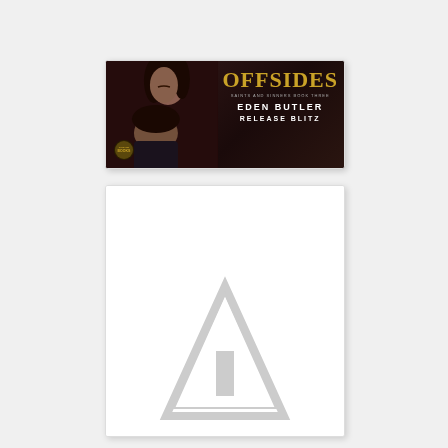[Figure (illustration): Book release blitz banner for 'Offsides' by Eden Butler. Dark romantic background with a couple in an intimate pose on the left side. Right side shows golden text 'OFFSIDES', subtitle 'Saints and Sinners Book Three', author name 'EDEN BUTLER', and 'RELEASE BLITZ' in white. Give Me Books logo badge in bottom left corner.]
[Figure (logo): White card with a large light gray triangular/arrow logo mark (Give Me Books or similar publisher logo) centered, appearing as a faded watermark-style emblem.]